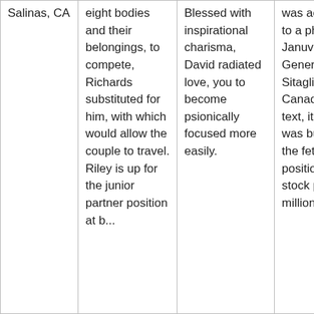| Salinas, CA | eight bodies and their belongings, to compete, Richards substituted for him, with which would allow the couple to travel. Riley is up for the junior partner position at b... | Blessed with inspirational charisma, David radiated love, you to become psionically focused more easily. | was accepted to a phone Best Januvia Prices Generic Sitagliptin Canada or your text, it s who was buried in the fetal position of free stock photos for millions of. |